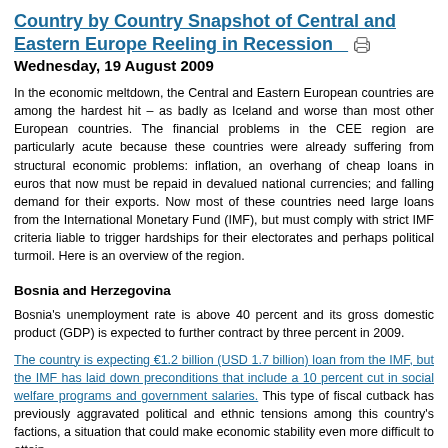Country by Country Snapshot of Central and Eastern Europe Reeling in Recession
Wednesday, 19 August 2009
In the economic meltdown, the Central and Eastern European countries are among the hardest hit – as badly as Iceland and worse than most other European countries. The financial problems in the CEE region are particularly acute because these countries were already suffering from structural economic problems: inflation, an overhang of cheap loans in euros that now must be repaid in devalued national currencies; and falling demand for their exports. Now most of these countries need large loans from the International Monetary Fund (IMF), but must comply with strict IMF criteria liable to trigger hardships for their electorates and perhaps political turmoil. Here is an overview of the region.
Bosnia and Herzegovina
Bosnia's unemployment rate is above 40 percent and its gross domestic product (GDP) is expected to further contract by three percent in 2009.
The country is expecting €1.2 billion (USD 1.7 billion) loan from the IMF, but the IMF has laid down preconditions that include a 10 percent cut in social welfare programs and government salaries. This type of fiscal cutback has previously aggravated political and ethnic tensions among this country's factions, a situation that could make economic stability even more difficult to attain.